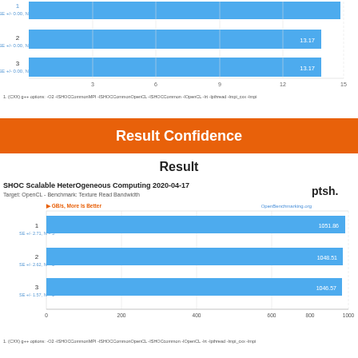[Figure (bar-chart): Top chart (partial)]
1. (CXX) g++ options: -O2 -ISHOCCommonMPI -ISHOCCommonOpenCL -ISHOCCommon -IOpenCL -lrt -lpthread -lmpi_cxx -lmpi
Result Confidence
Result
[Figure (bar-chart): SHOC Scalable HeterOgeneous Computing 2020-04-17 — Target: OpenCL - Benchmark: Texture Read Bandwidth]
1. (CXX) g++ options: -O2 -ISHOCCommonMPI -ISHOCCommonOpenCL -ISHOCcommon -IOpenCL -lrt -lpthread -lmpi_cxx -lmpi